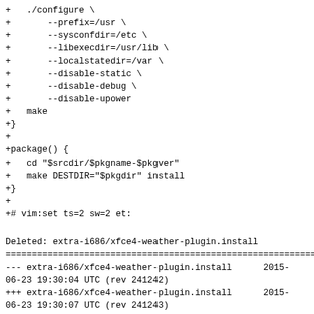+   ./configure \
+       --prefix=/usr \
+       --sysconfdir=/etc \
+       --libexecdir=/usr/lib \
+       --localstatedir=/var \
+       --disable-static \
+       --disable-debug \
+       --disable-upower
+   make
+}
+
+package() {
+   cd "$srcdir/$pkgname-$pkgver"
+   make DESTDIR="$pkgdir" install
+}
+
+# vim:set ts=2 sw=2 et:
Deleted: extra-i686/xfce4-weather-plugin.install
================================================================
--- extra-i686/xfce4-weather-plugin.install      2015-06-23 19:30:04 UTC (rev 241242)
+++ extra-i686/xfce4-weather-plugin.install      2015-06-23 19:30:07 UTC (rev 241243)
@@ -1,13 +0,0 @@
-post_install() {
-  gtk-update-icon-cache -q -t -f usr/share/icons/hicolor
-}
-
- post_upgrade() {